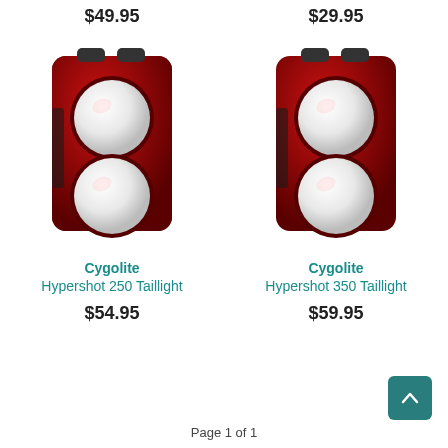$49.95
$29.95
[Figure (photo): Cygolite Hypershot 250 Taillight product photo — red bicycle tail light with two circular lenses and two buttons on top]
[Figure (photo): Cygolite Hypershot 350 Taillight product photo — red bicycle tail light with two circular lenses and two buttons on top]
Cygolite
Hypershot 250 Taillight
Cygolite
Hypershot 350 Taillight
$54.95
$59.95
Page 1 of 1